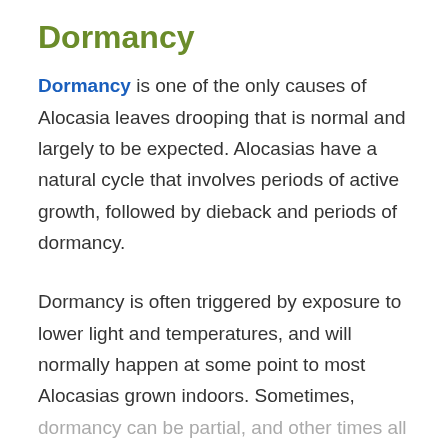Dormancy
Dormancy is one of the only causes of Alocasia leaves drooping that is normal and largely to be expected. Alocasias have a natural cycle that involves periods of active growth, followed by dieback and periods of dormancy.
Dormancy is often triggered by exposure to lower light and temperatures, and will normally happen at some point to most Alocasias grown indoors. Sometimes, dormancy can be partial, and other times all the foliage will droop and die, followed by the